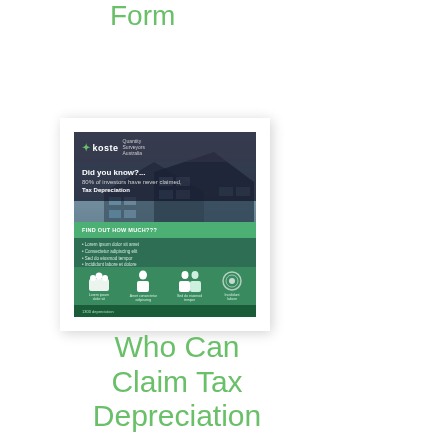Form
[Figure (illustration): Koste tax depreciation brochure thumbnail showing a building facade, 'Did you know?... 80% of investors have never claimed Tax Depreciation' headline, green banner, bullet points, and icon row at bottom with human figures]
Who Can Claim Tax Depreciation